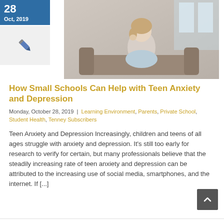Oct, 2019
[Figure (photo): Person sitting with knees drawn up, viewed from behind, appearing to be in a contemplative or sad pose on a couch]
How Small Schools Can Help with Teen Anxiety and Depression
Monday, October 28, 2019 | Learning Environment, Parents, Private School, Student Health, Tenney Subscribers
Teen Anxiety and Depression Increasingly, children and teens of all ages struggle with anxiety and depression. It's still too early for research to verify for certain, but many professionals believe that the steadily increasing rate of teen anxiety and depression can be attributed to the increasing use of social media, smartphones, and the internet. If [...]